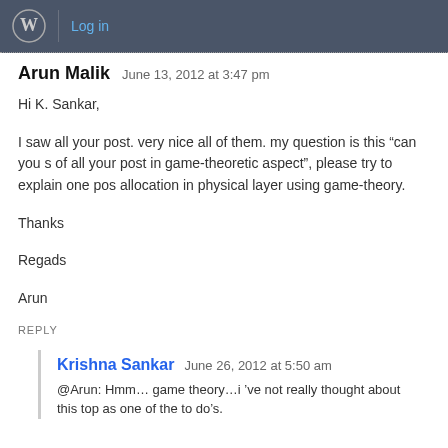Log in
Arun Malik   June 13, 2012 at 3:47 pm
Hi K. Sankar,

I saw all your post. very nice all of them. my question is this "can you s of all your post in game-theoretic aspect", please try to explain one pos allocation in physical layer using game-theory.

Thanks

Regads

Arun
REPLY
Krishna Sankar   June 26, 2012 at 5:50 am
@Arun: Hmm… game theory…i 've not really thought about this top as one of the to do's.